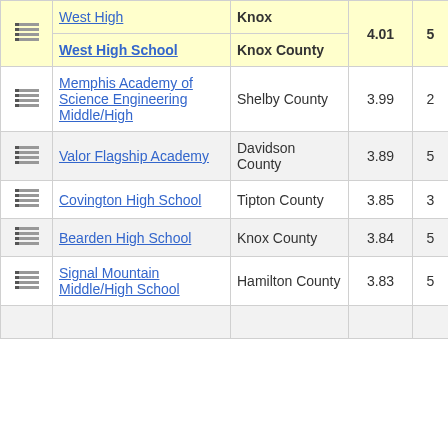|  | School | County | Rating | Score |
| --- | --- | --- | --- | --- |
| [icon] | West High / West High School | Knox / Knox County | 4.01 | 5 |
| [icon] | Memphis Academy of Science Engineering Middle/High | Shelby County | 3.99 | 2 |
| [icon] | Valor Flagship Academy | Davidson County | 3.89 | 5 |
| [icon] | Covington High School | Tipton County | 3.85 | 3 |
| [icon] | Bearden High School | Knox County | 3.84 | 5 |
| [icon] | Signal Mountain Middle/High School | Hamilton County | 3.83 | 5 |